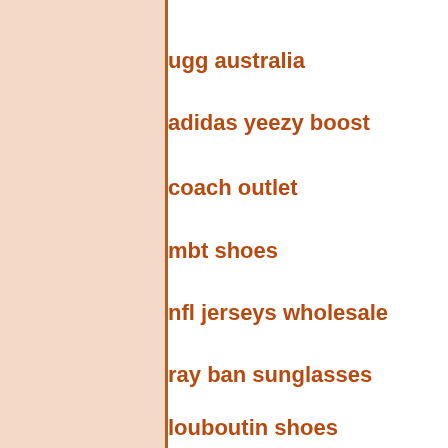ugg australia
adidas yeezy boost
coach outlet
mbt shoes
nfl jerseys wholesale
ray ban sunglasses
louboutin shoes